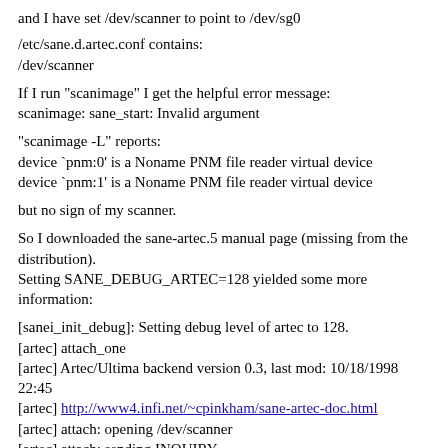and I have set /dev/scanner to point to /dev/sg0
/etc/sane.d.artec.conf contains:
/dev/scanner
If I run "scanimage" I get the helpful error message:
scanimage: sane_start: Invalid argument
"scanimage -L" reports:
device `pnm:0' is a Noname PNM file reader virtual device
device `pnm:1' is a Noname PNM file reader virtual device
but no sign of my scanner.
So I downloaded the sane-artec.5 manual page (missing from the distribution).
Setting SANE_DEBUG_ARTEC=128 yielded some more information:
[sanei_init_debug]: Setting debug level of artec to 128.
[artec] attach_one
[artec] Artec/Ultima backend version 0.3, last mod: 10/18/1998 22:45
[artec] http://www4.infi.net/~cpinkham/sane-artec-doc.html
[artec] attach: opening /dev/scanner
[artec] attach: sending INQUIRY